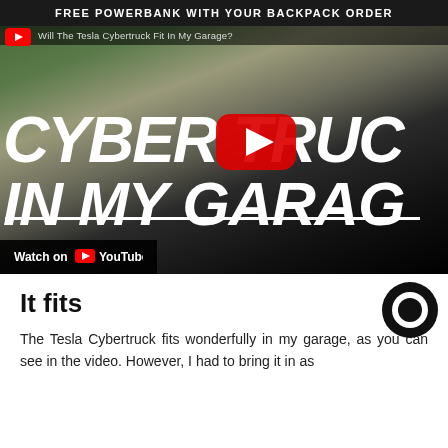FREE POWERBANK WITH YOUR BACKPACK ORDER
[Figure (screenshot): YouTube video thumbnail showing a Tesla Cybertruck with large italic text 'CYBERTRUCK IN MY GARAGE', a red YouTube play button in the center, and a 'Watch on YouTube' bar at the bottom. The video title reads 'Will The Tesla Cybertruck Fit In My Garage?']
It fits
The Tesla Cybertruck fits wonderfully in my garage, as you can see in the video. However, I had to bring it in as